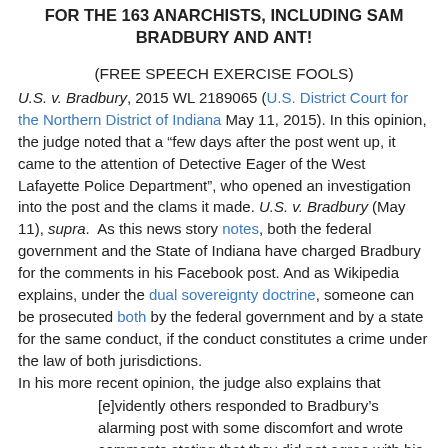FOR THE 163 ANARCHISTS, INCLUDING SAM BRADBURY AND ANT!
(FREE SPEECH EXERCISE FOOLS)
U.S. v. Bradbury, 2015 WL 2189065 (U.S. District Court for the Northern District of Indiana May 11, 2015). In this opinion, the judge noted that a “few days after the post went up, it came to the attention of Detective Eager of the West Lafayette Police Department”, who opened an investigation into the post and the clams it made. U.S. v. Bradbury (May 11), supra.  As this news story notes, both the federal government and the State of Indiana have charged Bradbury for the comments in his Facebook post. And as Wikipedia explains, under the dual sovereignty doctrine, someone can be prosecuted both by the federal government and by a state for the same conduct, if the conduct constitutes a crime under the law of both jurisdictions.
In his more recent opinion, the judge also explains that
[e]vidently others responded to Bradbury’s alarming post with some discomfort and wrote comments stating that they did not agree with his threatening rant. This must have caused Bradbury to suffer from writer’s remorse